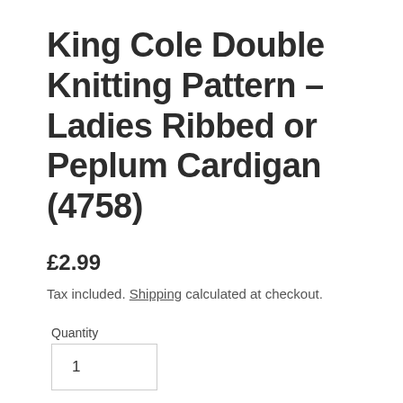King Cole Double Knitting Pattern - Ladies Ribbed or Peplum Cardigan (4758)
£2.99
Tax included. Shipping calculated at checkout.
Quantity
1
ADD TO CART